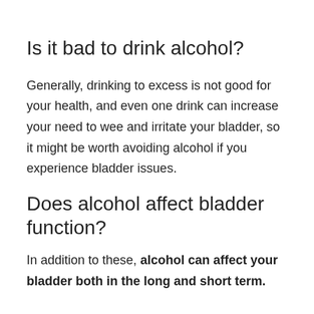Is it bad to drink alcohol?
Generally, drinking to excess is not good for your health, and even one drink can increase your need to wee and irritate your bladder, so it might be worth avoiding alcohol if you experience bladder issues.
Does alcohol affect bladder function?
In addition to these, alcohol can affect your bladder both in the long and short term.